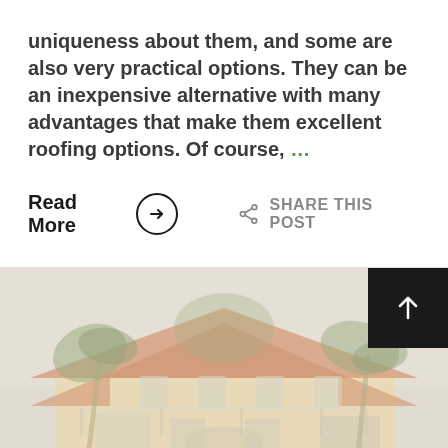uniqueness about them, and some are also very practical options. They can be an inexpensive alternative with many advantages that make them excellent roofing options. Of course, ...
Read More  →  SHARE THIS POST
[Figure (photo): A large two-story tropical villa with terracotta/orange clay tile roof, palm trees swaying in the background, white stucco walls, balcony railings, and faded/washed-out coloring suggesting heavy sun exposure. A dark square button with an upward arrow is overlaid in the top-right corner.]